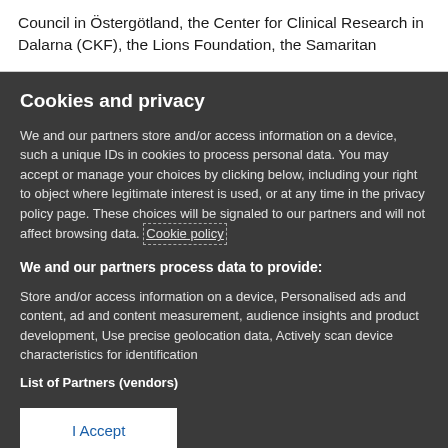Council in Östergötland, the Center for Clinical Research in Dalarna (CKF), the Lions Foundation, the Samaritan
Cookies and privacy
We and our partners store and/or access information on a device, such a unique IDs in cookies to process personal data. You may accept or manage your choices by clicking below, including your right to object where legitimate interest is used, or at any time in the privacy policy page. These choices will be signaled to our partners and will not affect browsing data. Cookie policy
We and our partners process data to provide:
Store and/or access information on a device, Personalised ads and content, ad and content measurement, audience insights and product development, Use precise geolocation data, Actively scan device characteristics for identification
List of Partners (vendors)
I Accept